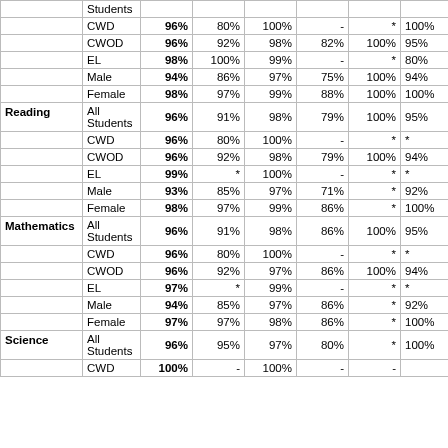| Subject | Group | School | Col3 | Col4 | Col5 | Col6 | Col7 |
| --- | --- | --- | --- | --- | --- | --- | --- |
|  | Students |  |  |  |  |  |  |
|  | CWD | 96% | 80% | 100% | - | * | 100% |
|  | CWOD | 96% | 92% | 98% | 82% | 100% | 95% |
|  | EL | 98% | 100% | 99% | - | * | 80% |
|  | Male | 94% | 86% | 97% | 75% | 100% | 94% |
|  | Female | 98% | 97% | 99% | 88% | 100% | 100% |
| Reading | All Students | 96% | 91% | 98% | 79% | 100% | 95% |
|  | CWD | 96% | 80% | 100% | - | * | * |
|  | CWOD | 96% | 92% | 98% | 79% | 100% | 94% |
|  | EL | 99% | * | 100% | - | * | * |
|  | Male | 93% | 85% | 97% | 71% | * | 92% |
|  | Female | 98% | 97% | 99% | 86% | * | 100% |
| Mathematics | All Students | 96% | 91% | 98% | 86% | 100% | 95% |
|  | CWD | 96% | 80% | 100% | - | * | * |
|  | CWOD | 96% | 92% | 97% | 86% | 100% | 94% |
|  | EL | 97% | * | 99% | - | * | * |
|  | Male | 94% | 85% | 97% | 86% | * | 92% |
|  | Female | 97% | 97% | 98% | 86% | * | 100% |
| Science | All Students | 96% | 95% | 97% | 80% | * | 100% |
|  | CWD | 100% | - | 100% | - | - |  |